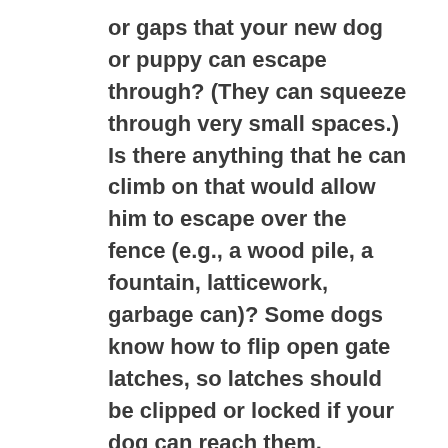or gaps that your new dog or puppy can escape through? (They can squeeze through very small spaces.) Is there anything that he can climb on that would allow him to escape over the fence (e.g., a wood pile, a fountain, latticework, garbage can)? Some dogs know how to flip open gate latches, so latches should be clipped or locked if your dog can reach them.
What sort of plants do you have in your yard? Snail bait and some plants (such as oleander, azaleas and rhododendrons) are poisonous to dogs. Antifreeze is another hazard for dogs – it is toxic and can be